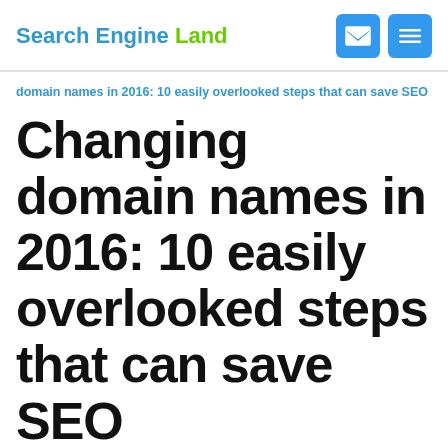Search Engine Land
domain names in 2016: 10 easily overlooked steps that can save SEO
Changing domain names in 2016: 10 easily overlooked steps that can save SEO
Moving your site to a new domain can be fraught with SEO issues, even without a